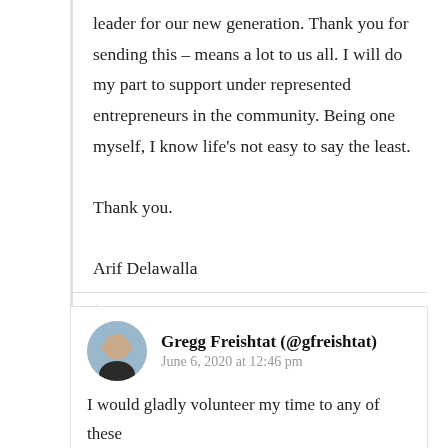leader for our new generation. Thank you for sending this – means a lot to us all. I will do my part to support under represented entrepreneurs in the community. Being one myself, I know life's not easy to say the least.

Thank you.

Arif Delawalla
Reply
Gregg Freishtat (@gfreishtat)
June 6, 2020 at 12:46 pm
I would gladly volunteer my time to any of these